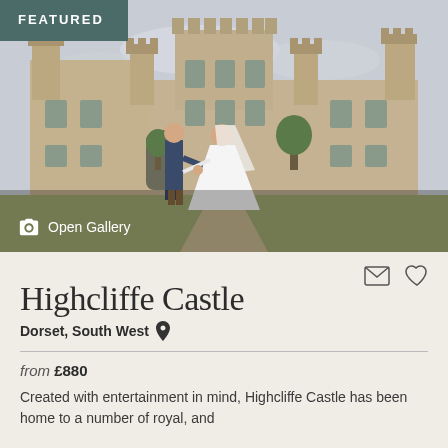[Figure (photo): Wedding couple holding hands in front of Highcliffe Castle, a large stone historic building. 'FEATURED' badge in top-left corner. 'Open Gallery' camera icon at bottom-left.]
Highcliffe Castle
Dorset, South West
from £880
Created with entertainment in mind, Highcliffe Castle has been home to a number of royal, and